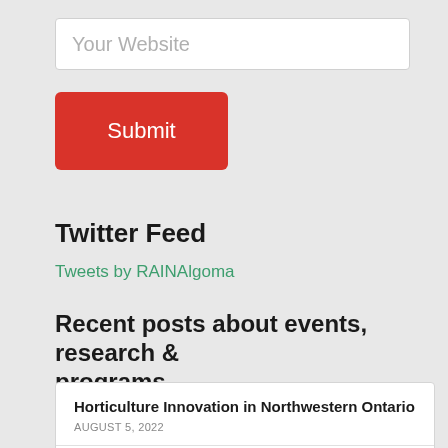[Figure (screenshot): Input field with placeholder text 'Your Website']
[Figure (screenshot): Red Submit button]
Twitter Feed
Tweets by RAINAlgoma
Recent posts about events, research & programs
Horticulture Innovation in Northwestern Ontario
AUGUST 5, 2022
Increasing Food Security in Northeastern Ontario
JULY 25, 2022